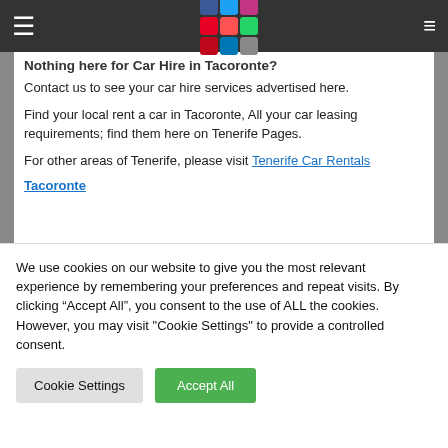Nothing here for Car Hire in Tacoronte?
Contact us to see your car hire services advertised here.
Find your local rent a car in Tacoronte, All your car leasing requirements; find them here on Tenerife Pages.
For other areas of Tenerife, please visit Tenerife Car Rentals
Tacoronte
We use cookies on our website to give you the most relevant experience by remembering your preferences and repeat visits. By clicking “Accept All”, you consent to the use of ALL the cookies. However, you may visit "Cookie Settings" to provide a controlled consent.